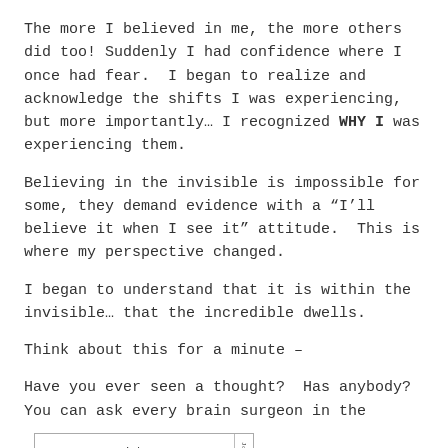The more I believed in me, the more others did too! Suddenly I had confidence where I once had fear.  I began to realize and acknowledge the shifts I was experiencing, but more importantly… I recognized WHY I was experiencing them.
Believing in the invisible is impossible for some, they demand evidence with a “I’ll believe it when I see it” attitude.  This is where my perspective changed.
I began to understand that it is within the invisible… that the incredible dwells.
Think about this for a minute –
Have you ever seen a thought?  Has anybody?  You can ask every brain surgeon in the
[Figure (infographic): A typographic quote card with border reading: 'one person with a belief is equal to a force of ninety-nine']